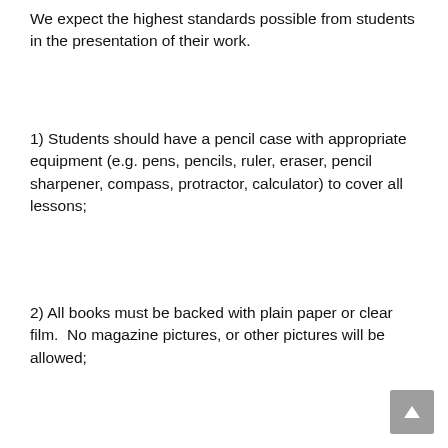We expect the highest standards possible from students in the presentation of their work.
1) Students should have a pencil case with appropriate equipment (e.g. pens, pencils, ruler, eraser, pencil sharpener, compass, protractor, calculator) to cover all lessons;
2) All books must be backed with plain paper or clear film.  No magazine pictures, or other pictures will be allowed;